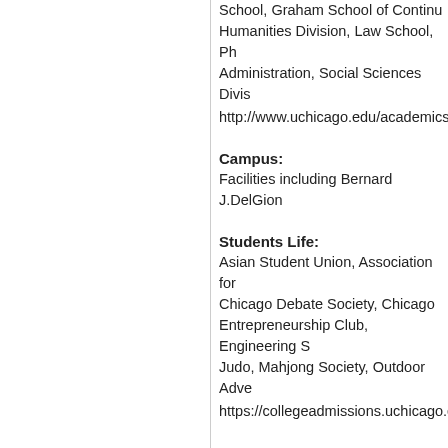School, Graham School of Continuing Studies, Humanities Division, Law School, Physical Sciences, Administration, Social Sciences Division,
http://www.uchicago.edu/academics/
Campus:
Facilities including Bernard J.DelGiorno
Students Life:
Asian Student Union, Association for Chicago Debate Society, Chicago Entrepreneurship Club, Engineering S Judo, Mahjong Society, Outdoor Adve
https://collegeadmissions.uchicago.ec
Club sports: Archery, Badminton, Climbing, Shotokan Karate, Lacrosse, Rugby, Soccer, football etc.
https://collegeadmissions.uchicago.ed